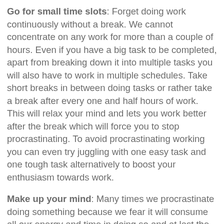Go for small time slots: Forget doing work continuously without a break. We cannot concentrate on any work for more than a couple of hours. Even if you have a big task to be completed, apart from breaking down it into multiple tasks you will also have to work in multiple schedules. Take short breaks in between doing tasks or rather take a break after every one and half hours of work. This will relax your mind and lets you work better after the break which will force you to stop procrastinating. To avoid procrastinating working you can even try juggling with one easy task and one tough task alternatively to boost your enthusiasm towards work.
Make up your mind: Many times we procrastinate doing something because we fear it will consume all our energy and time in doing so and at last the result is also not predictable. In such cases, it is mostly a psychological feeling